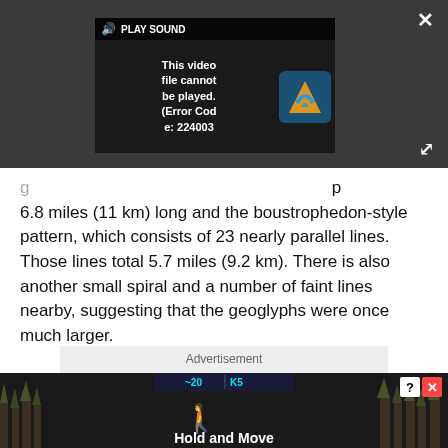[Figure (screenshot): Video player overlay showing error message 'This video file cannot be played. (Error Code: 224003)' with PLAY SOUND button and LS logo, on dark background. Close (X) and expand buttons visible.]
6.8 miles (11 km) long and the boustrophedon-style pattern, which consists of 23 nearly parallel lines. Those lines total 5.7 miles (9.2 km). There is also another small spiral and a number of faint lines nearby, suggesting that the geoglyphs were once much larger.
[Figure (screenshot): Advertisement box with grey background labeled 'Advertisement']
[Figure (screenshot): Bottom banner advertisement for 'Hold and Move' app/game, showing score display with '~20' and 'K5', blue running figure icon, trees in background, with close (?) and (X) buttons.]